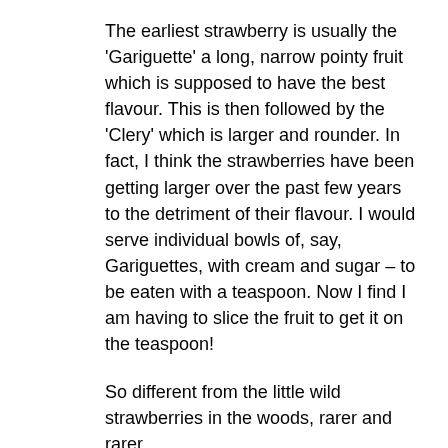The earliest strawberry is usually the 'Gariguette' a long, narrow pointy fruit which is supposed to have the best flavour. This is then followed by the 'Clery' which is larger and rounder. In fact, I think the strawberries have been getting larger over the past few years to the detriment of their flavour. I would serve individual bowls of, say, Gariguettes, with cream and sugar – to be eaten with a teaspoon. Now I find I am having to slice the fruit to get it on the teaspoon!
So different from the little wild strawberries in the woods, rarer and rarer. Shortly after having purchased La Chaise, and 'sold' a number of large oak trees to the local saw mill, we had a mega harvest of wild strawberries. The little plants